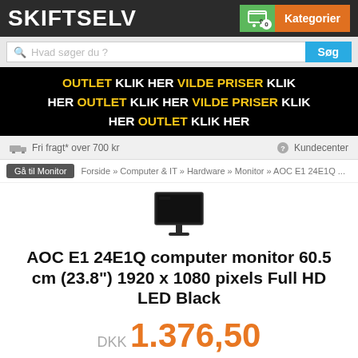SKIFTSELV
Hvad søger du ?
[Figure (infographic): Black banner with text: OUTLET KLIK HER VILDE PRISER KLIK HER OUTLET KLIK HER VILDE PRISER KLIK HER OUTLET KLIK HER — alternating white and yellow bold text]
Fri fragt* over 700 kr    Kundecenter
Gå til Monitor   Forside » Computer & IT » Hardware » Monitor » AOC E1 24E1Q ...
[Figure (photo): Small product image of an AOC monitor (black, flat screen on stand)]
AOC E1 24E1Q computer monitor 60.5 cm (23.8") 1920 x 1080 pixels Full HD LED Black
DKK 1.376,50
Inkl. Gratis Levering
Antal